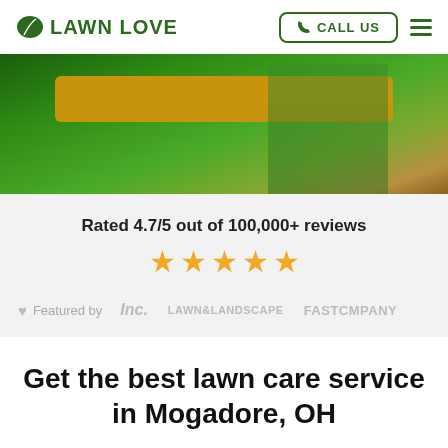LAWN LOVE | CALL US
[Figure (photo): Hero image showing a lawn care worker in green shirt, with a golden/yellow banner overlay on a green background]
Rated 4.7/5 out of 100,000+ reviews ★★★★★
Featured by Inc. Lawn & Landscape FAST COMPANY
Get the best lawn care service in Mogadore, OH